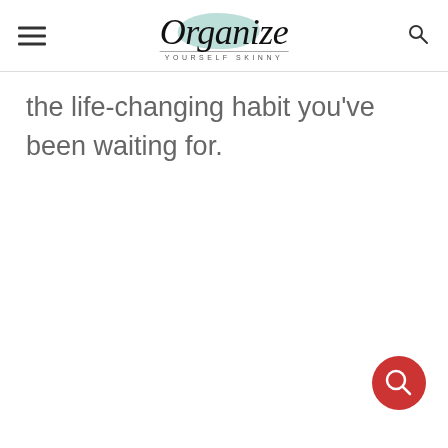Organize Yourself Skinny
the life-changing habit you've been waiting for.
[Figure (logo): Red circular search button (FAB) in bottom right corner]